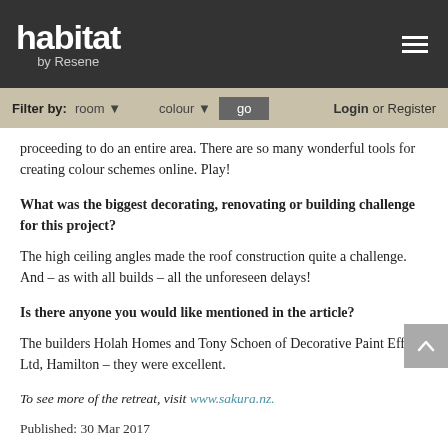habitat by Resene
Filter by: room ▼   colour ▼   go   Login or Register
proceeding to do an entire area. There are so many wonderful tools for creating colour schemes online. Play!
What was the biggest decorating, renovating or building challenge for this project?
The high ceiling angles made the roof construction quite a challenge. And – as with all builds – all the unforeseen delays!
Is there anyone you would like mentioned in the article?
The builders Holah Homes and Tony Schoen of Decorative Paint Effects Ltd, Hamilton – they were excellent.
To see more of the retreat, visit www.sakura.nz.
Published: 30 Mar 2017